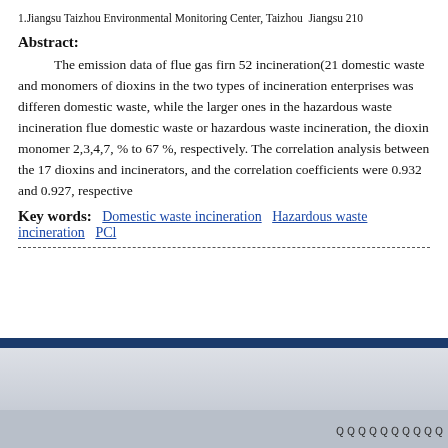1.Jiangsu Taizhou Environmental Monitoring Center, Taizhou　Jiangsu 210...
Abstract:
The emission data of flue gas firn 52 incineration(21 domestic waste and monomers of dioxins in the two types of incineration enterprises was different domestic waste, while the larger ones in the hazardous waste incineration flue domestic waste or hazardous waste incineration, the dioxin monomer 2,3,4,7, % to 67 %, respectively. The correlation analysis between the 17 dioxins and incinerators, and the correlation coefficients were 0.932 and 0.927, respective
Key words:  Domestic waste incineration  Hazardous waste incineration  PCl
・・・・・・・・・・・・
電話025-695...
・・・・・・・・・・